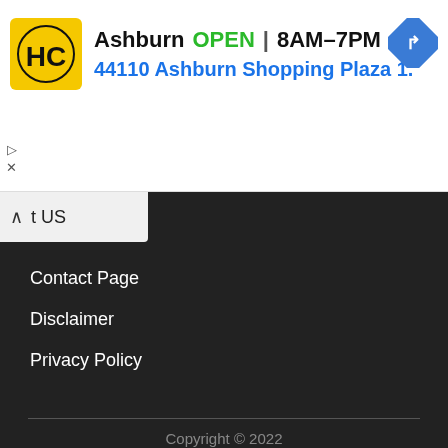[Figure (screenshot): Advertisement banner for Haircut store in Ashburn showing logo, OPEN status, hours 8AM-7PM, address 44110 Ashburn Shopping Plaza 1., and navigation arrow icon]
t US
Contact Page
Disclaimer
Privacy Policy
Copyright © 2022